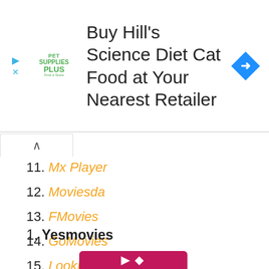[Figure (other): Advertisement banner for Pet Supplies Plus: 'Buy Hill's Science Diet Cat Food at Your Nearest Retailer' with Pet Supplies Plus green logo and blue diamond navigation icon]
11. Mx Player
12. Moviesda
13. FMovies
14. GoMovies
15. LookMovie
1. Yesmovies
[Figure (other): Bottom portion of Yesmovies logo or screenshot — pink/magenta background with partial white icon visible]